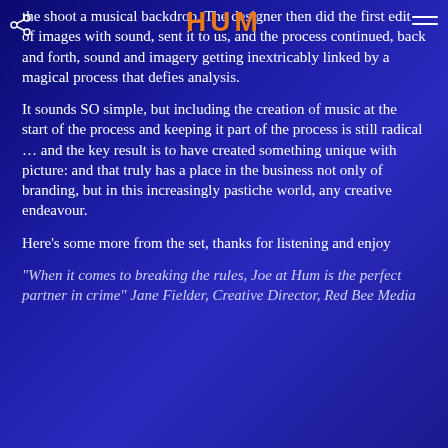HUM
the shoot a musical backdrop. The designer then did the first edit of images with sound, sent it to us, and the process continued, back and forth, sound and imagery getting inextricably linked by a magical process that defies analysis.
It sounds SO simple, but including the creation of music at the start of the process and keeping it part of the process is still radical … and the key result is to have created something unique with picture: and that truly has a place in the business not only of branding, but in this increasingly pastiche world, any creative endeavour.
Here's some more from the set, thanks for listening and enjoy
“When it comes to breaking the rules, Joe at Hum is the perfect partner in crime” Jane Fielder, Creative Director, Red Bee Media